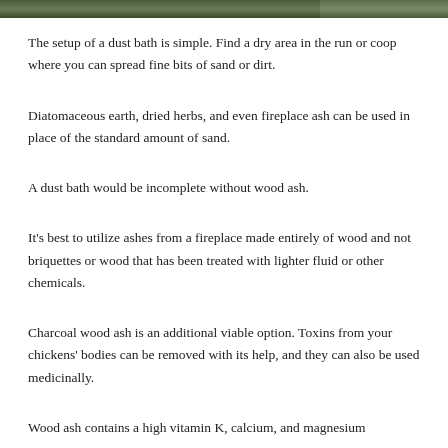[Figure (photo): Top strip of photos showing chickens or outdoor area, partially visible at top of page]
The setup of a dust bath is simple. Find a dry area in the run or coop where you can spread fine bits of sand or dirt.
Diatomaceous earth, dried herbs, and even fireplace ash can be used in place of the standard amount of sand.
A dust bath would be incomplete without wood ash.
It's best to utilize ashes from a fireplace made entirely of wood and not briquettes or wood that has been treated with lighter fluid or other chemicals.
Charcoal wood ash is an additional viable option. Toxins from your chickens' bodies can be removed with its help, and they can also be used medicinally.
Wood ash contains a high vitamin K, calcium, and magnesium